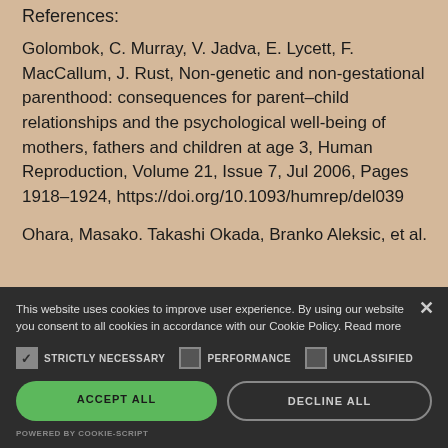References:
Golombok, C. Murray, V. Jadva, E. Lycett, F. MacCallum, J. Rust, Non-genetic and non-gestational parenthood: consequences for parent–child relationships and the psychological well-being of mothers, fathers and children at age 3, Human Reproduction, Volume 21, Issue 7, Jul 2006, Pages 1918–1924, https://doi.org/10.1093/humrep/del039
Ohara, Masako. Takashi Okada, Branko Aleksic, et al.
This website uses cookies to improve user experience. By using our website you consent to all cookies in accordance with our Cookie Policy. Read more
STRICTLY NECESSARY   PERFORMANCE   UNCLASSIFIED
ACCEPT ALL   DECLINE ALL
POWERED BY COOKIE-SCRIPT